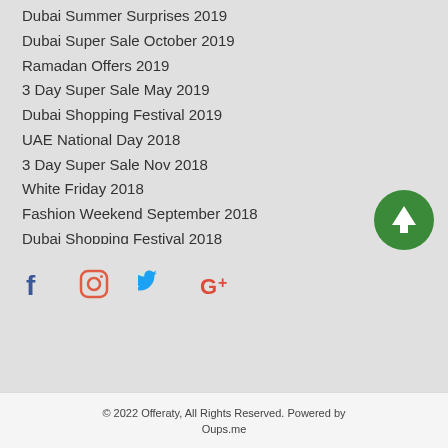Dubai Summer Surprises 2019
Dubai Super Sale October 2019
Ramadan Offers 2019
3 Day Super Sale May 2019
Dubai Shopping Festival 2019
UAE National Day 2018
3 Day Super Sale Nov 2018
White Friday 2018
Fashion Weekend September 2018
Dubai Shopping Festival 2018
Dubai Summer Surprises 2018
Ramadan 2018
Dubai Super Sale May 2017
[Figure (infographic): Social media icons: Facebook, Instagram, Twitter, Google+ and a green scroll-to-top button with an upward arrow]
© 2022 Offeraty, All Rights Reserved. Powered by Oups.me